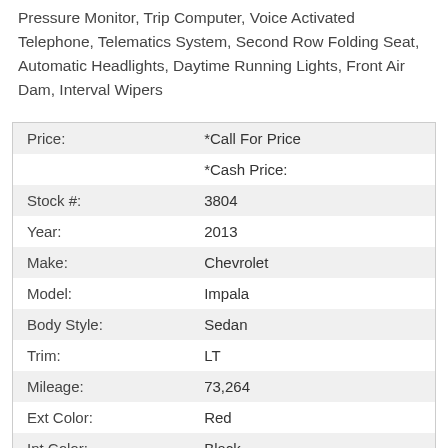Pressure Monitor, Trip Computer, Voice Activated Telephone, Telematics System, Second Row Folding Seat, Automatic Headlights, Daytime Running Lights, Front Air Dam, Interval Wipers
| Price: | *Call For Price |
|  | *Cash Price: |
| Stock #: | 3804 |
| Year: | 2013 |
| Make: | Chevrolet |
| Model: | Impala |
| Body Style: | Sedan |
| Trim: | LT |
| Mileage: | 73,264 |
| Ext Color: | Red |
| Int Color: | Black |
| Transmission: | 6-Speed Automatic |
| Engine: | 3.6L V6 DOHC 16V FFV |
| Drive Type: | FWD |